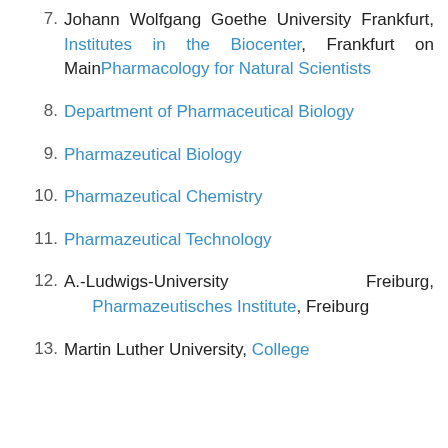7. Johann Wolfgang Goethe University Frankfurt, Institutes in the Biocenter, Frankfurt on Main Pharmacology for Natural Scientists
8. Department of Pharmaceutical Biology
9. Pharmazeutical Biology
10. Pharmazeutical Chemistry
11. Pharmazeutical Technology
12. A.-Ludwigs-University Freiburg, Pharmazeutisches Institute, Freiburg
13. Martin Luther University, College